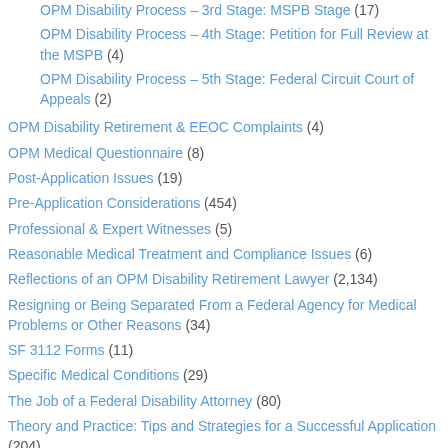OPM Disability Process – 3rd Stage: MSPB Stage (17)
OPM Disability Process – 4th Stage: Petition for Full Review at the MSPB (4)
OPM Disability Process – 5th Stage: Federal Circuit Court of Appeals (2)
OPM Disability Retirement & EEOC Complaints (4)
OPM Medical Questionnaire (8)
Post-Application Issues (19)
Pre-Application Considerations (454)
Professional & Expert Witnesses (5)
Reasonable Medical Treatment and Compliance Issues (6)
Reflections of an OPM Disability Retirement Lawyer (2,134)
Resigning or Being Separated From a Federal Agency for Medical Problems or Other Reasons (34)
SF 3112 Forms (11)
Specific Medical Conditions (29)
The Job of a Federal Disability Attorney (80)
Theory and Practice: Tips and Strategies for a Successful Application (204)
U.S. Merit Systems Protection Board (MSPB) (21)